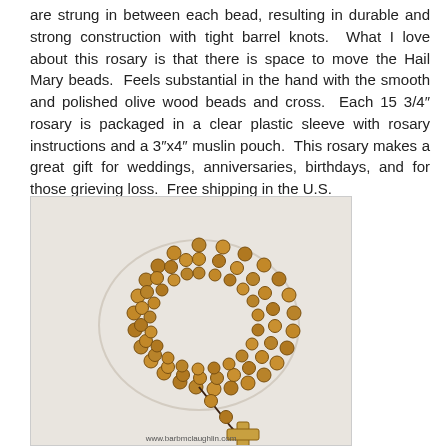are strung in between each bead, resulting in durable and strong construction with tight barrel knots.  What I love about this rosary is that there is space to move the Hail Mary beads.  Feels substantial in the hand with the smooth and polished olive wood beads and cross.  Each 15 3/4″ rosary is packaged in a clear plastic sleeve with rosary instructions and a 3″x4″ muslin pouch.  This rosary makes a great gift for weddings, anniversaries, birthdays, and for those grieving loss.  Free shipping in the U.S.
[Figure (photo): Photograph of an olive wood rosary with round wooden beads strung on dark cord with barrel knots, arranged in a coil/loop shape with a plain wooden cross pendant at the bottom. Website watermark: www.barbmclaughlin.com]